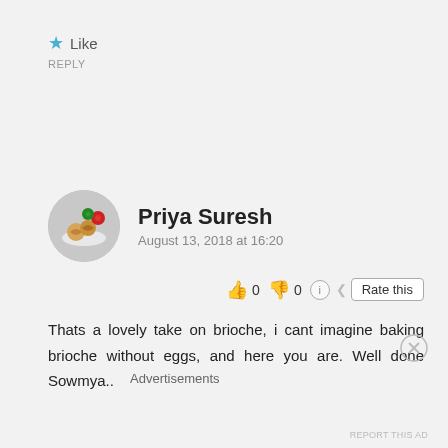★ Like
REPLY
Priya Suresh
August 13, 2018 at 16:20
👍 0 👎 0 ℹ Rate this
Thats a lovely take on brioche, i cant imagine baking brioche without eggs, and here you are. Well done Sowmya..
Advertisements